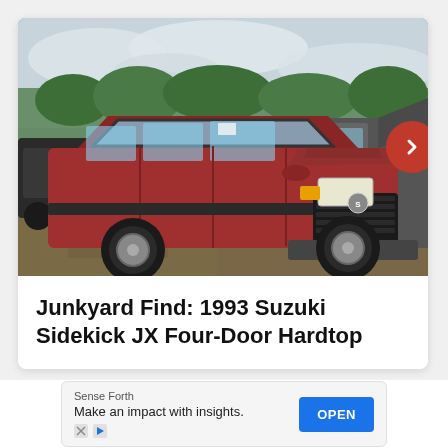[Figure (photo): Photo of a red 1993 Suzuki Sidekick JX Four-Door Hardtop in a junkyard, surrounded by other junked vehicles, with overcast sky and trees in background. A red circular navigation arrow is partially visible on the right edge.]
Junkyard Find: 1993 Suzuki Sidekick JX Four-Door Hardtop
Sense Forth
Make an impact with insights.
OPEN